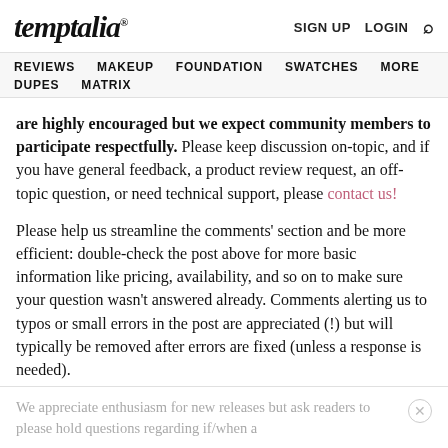temptalia® SIGN UP LOGIN 🔍
REVIEWS  MAKEUP  FOUNDATION  SWATCHES  MORE  DUPES  MATRIX
are highly encouraged but we expect community members to participate respectfully. Please keep discussion on-topic, and if you have general feedback, a product review request, an off-topic question, or need technical support, please contact us!
Please help us streamline the comments' section and be more efficient: double-check the post above for more basic information like pricing, availability, and so on to make sure your question wasn't answered already. Comments alerting us to typos or small errors in the post are appreciated (!) but will typically be removed after errors are fixed (unless a response is needed).
We appreciate enthusiasm for new releases but ask readers to please hold questions regarding if/when a